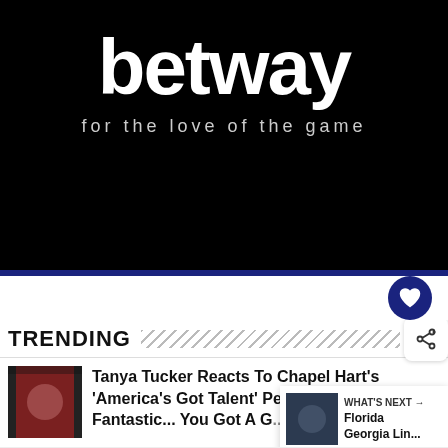[Figure (logo): Betway advertisement banner with black background. Large white bold text 'betway' and tagline 'for the love of the game' in lighter smaller text below.]
TRENDING
Tanya Tucker Reacts To Chapel Hart's 'America's Got Talent' Performance: 'They Were Fantastic... You Got A G...
WHAT'S NEXT → Florida Georgia Lin...
Walker Hayes Admits He Nearly Quit Music After Massive "Fancy Like" Success...